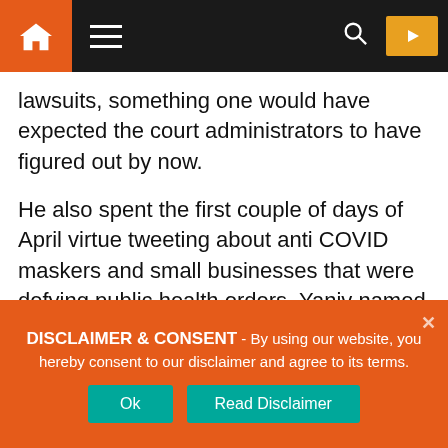Navigation bar with home icon, hamburger menu, search icon, YouTube button
lawsuits, something one would have expected the court administrators to have figured out by now.
He also spent the first couple of days of April virtue tweeting about anti COVID maskers and small businesses that were defying public health orders. Yaniv named several businesses for the authorities to investigate. What they all had in common was that they were places where Donald F Smith, a well-known anti-masker and citizen journalist was covering for his YouTube channel. Yaniv does not care about the anti-
DISCLAIMER & CONSENT - By using our website, you hereby consent to our disclaimer and agree to its terms.